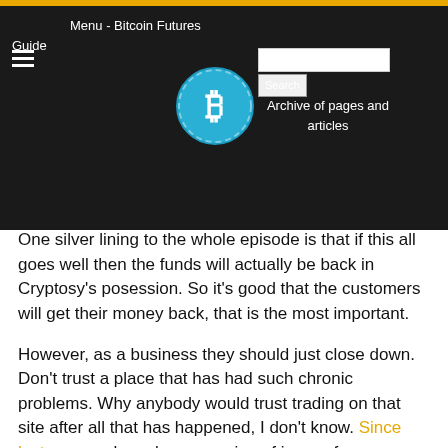Menu - Bitcoin Futures | Guide | Search | Archive of pages and articles
One silver lining to the whole episode is that if this all goes well then the funds will actually be back in Cryptosy's posession. So it's good that the customers will get their money back, that is the most important.
However, as a business they should just close down. Don't trust a place that has had such chronic problems. Why anybody would trust trading on that site after all that has happened, I don't know. Since last year we have been warning of issues from Cryptsy.
What do you think? Would this "contract" hold up in a Florida court? Unlikely: